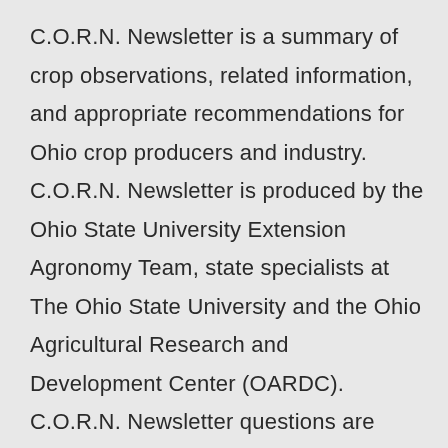C.O.R.N. Newsletter is a summary of crop observations, related information, and appropriate recommendations for Ohio crop producers and industry. C.O.R.N. Newsletter is produced by the Ohio State University Extension Agronomy Team, state specialists at The Ohio State University and the Ohio Agricultural Research and Development Center (OARDC). C.O.R.N. Newsletter questions are directed to Extension and OARDC state specialists and associates at Ohio State.